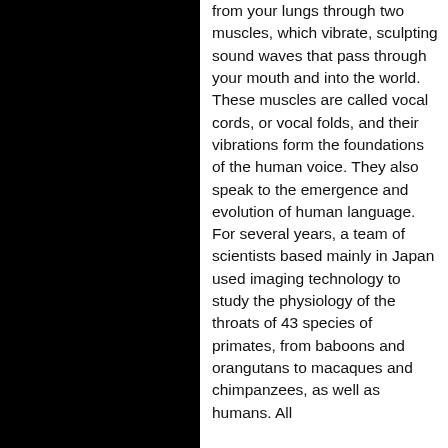[Figure (photo): Black image block on the left side of the page, upper half]
from your lungs through two muscles, which vibrate, sculpting sound waves that pass through your mouth and into the world. These muscles are called vocal cords, or vocal folds, and their vibrations form the foundations of the human voice. They also speak to the emergence and evolution of human language. For several years, a team of scientists based mainly in Japan used imaging technology to study the physiology of the throats of 43 species of primates, from baboons and orangutans to macaques and chimpanzees, as well as humans. All
We use cookies to enhance your experience on our website. By clicking 'Accept' or by continuing to use our website, you are agreeing to our use of cookies. You can change your cookie settings at any time.
Accept
Find out more